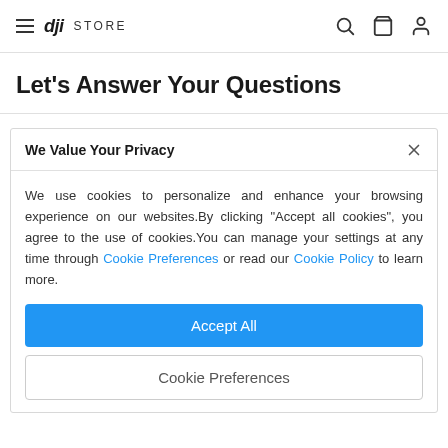DJI STORE — navigation bar with hamburger menu, search, cart, and account icons
Let's Answer Your Questions
We Value Your Privacy
We use cookies to personalize and enhance your browsing experience on our websites.By clicking "Accept all cookies", you agree to the use of cookies.You can manage your settings at any time through Cookie Preferences or read our Cookie Policy to learn more.
Accept All
Cookie Preferences